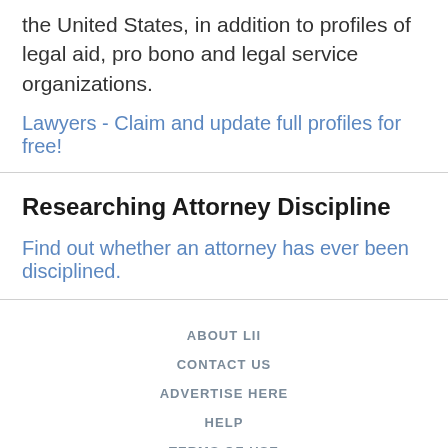the United States, in addition to profiles of legal aid, pro bono and legal service organizations.
Lawyers - Claim and update full profiles for free!
Researching Attorney Discipline
Find out whether an attorney has ever been disciplined.
ABOUT LII
CONTACT US
ADVERTISE HERE
HELP
TERMS OF USE
[Figure (logo): LII logo brackets]